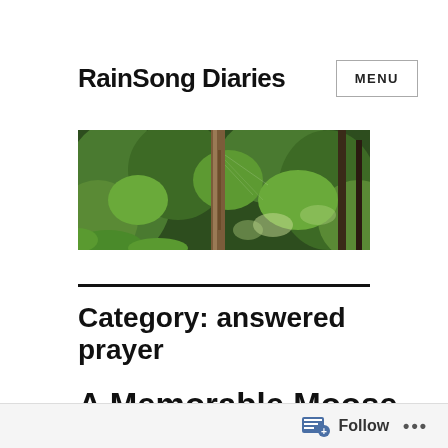RainSong Diaries
[Figure (photo): A forest trail scene with lush green ferns and trees, a wooden post visible in the center, dappled light filtering through dense foliage.]
Category: answered prayer
A Memorable Moose Hunt